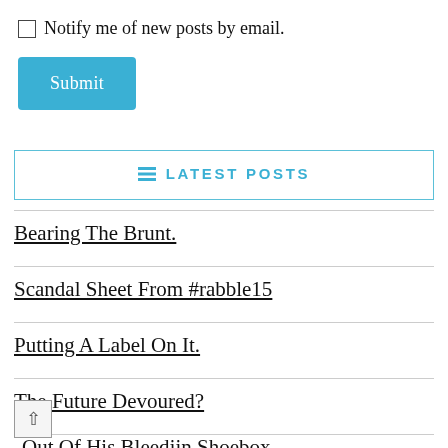Notify me of new posts by email.
Submit
LATEST POSTS
Bearing The Brunt.
Scandal Sheet From #rabble15
Putting A Label On It.
The Future Devoured?
Out Of His Bleedjin Shoebox.